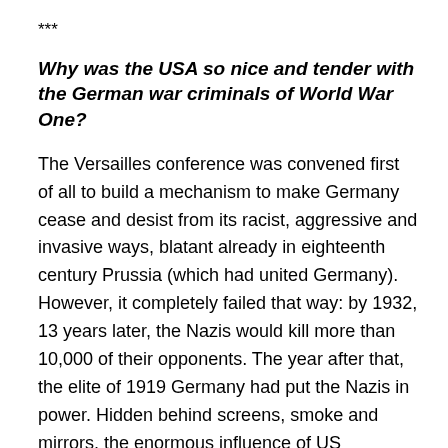***
Why was the USA so nice and tender with the German war criminals of World War One?
The Versailles conference was convened first of all to build a mechanism to make Germany cease and desist from its racist, aggressive and invasive ways, blatant already in eighteenth century Prussia (which had united Germany). However, it completely failed that way: by 1932, 13 years later, the Nazis would kill more than 10,000 of their opponents. The year after that, the elite of 1919 Germany had put the Nazis in power. Hidden behind screens, smoke and mirrors, the enormous influence of US plutocrats was in the driving seat all along (notoriously racist and anti-Jewish US plutocrat Henry Ford was apparently the main financier of the Nazi Party, in 1923, or